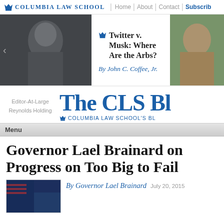Columbia Law School | Home | About | Contact | Subscribe
[Figure (screenshot): Carousel banner with two photos (man on left, woman on right) and article title center: 'Twitter v. Musk: Where Are the Arbs? By John C. Coffee, Jr.']
The CLS Bl[ue Sky]
Columbia Law School's Bl[og]
Editor-At-Large
Reynolds Holding
Menu
Governor Lael Brainard on Progress on Too Big to Fail
[Figure (photo): Thumbnail photo with American flag/financial imagery]
By Governor Lael Brainard   July 20, 2015